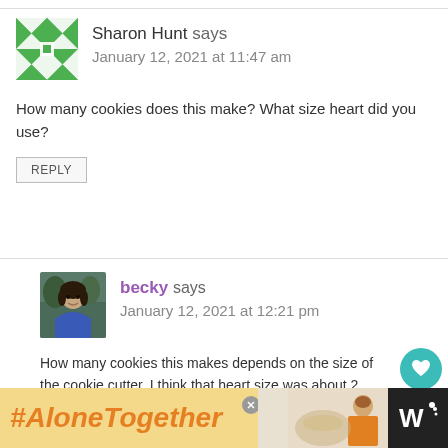[Figure (other): Green geometric/quilt pattern avatar icon for Sharon Hunt]
Sharon Hunt says
January 12, 2021 at 11:47 am
How many cookies does this make? What size heart did you use?
REPLY
[Figure (photo): Photo avatar of becky - woman with dark hair smiling, wearing blue top]
becky says
January 12, 2021 at 12:21 pm
How many cookies this makes depends on the size of the cookie cutter. I think that heart size was about 2 inches. If I recall right it makes about 20 cookie sandwiches
[Figure (infographic): #AloneTogether advertisement banner with orange bold text and a photo of a woman]